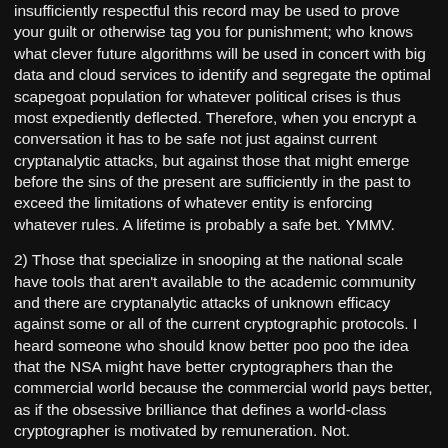insufficiently respectful this record may be used to prove your guilt or otherwise tag you for punishment; who knows what clever future algorithms will be used in concert with big data and cloud services to identify and segregate the optimal scapegoat population for whatever political crises is thus most expediently deflected. Therefore, when you encrypt a conversation it has to be safe not just against current cryptanalytic attacks, but against those that might emerge before the sins of the present are sufficiently in the past to exceed the limitations of whatever entity is enforcing whatever rules. A lifetime is probably a safe bet. YMMV.
2) Those that specialize in snooping at the national scale have tools that aren't available to the academic community and there are cryptanalytic attacks of unknown efficacy against some or all of the current cryptographic protocols. I heard someone who should know better poo poo the idea that the NSA might have better cryptographers than the commercial world because the commercial world pays better, as if the obsessive brilliance that defines a world-class cryptographer is motivated by remuneration. Not.
But you can still do better than nothing while understanding that a vulnerability to the NSA isn't likely to be an issue for many, though if PRISM access is already being disseminated downstream to the DEA, it is only a matter of time before politically affiliated hate groups are trolling emails looking for evidence of moral turpitude with which to tar the unfaithful. Any